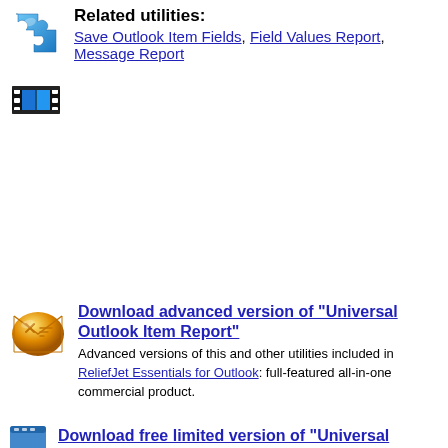Related utilities: Save Outlook Item Fields, Field Values Report, Message Report
[Figure (illustration): Blue film strip / video icon]
Download advanced version of "Universal Outlook Item Report" - Advanced versions of this and other utilities included in ReliefJet Essentials for Outlook: full-featured all-in-one commercial product.
Download free limited version of "Universal